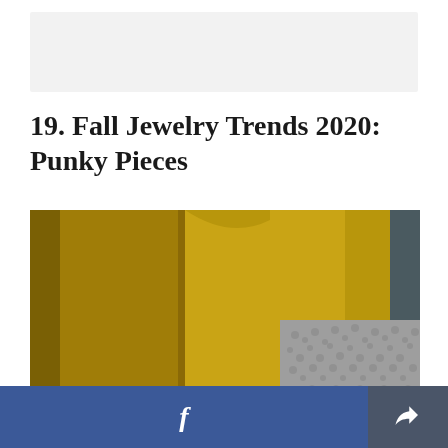[Figure (other): Gray advertisement banner placeholder]
19. Fall Jewelry Trends 2020: Punky Pieces
[Figure (photo): Close-up photo of a mustard yellow jacket/coat with a gray knit sweater visible underneath, suggesting fall fashion layering]
[Figure (other): Footer social sharing bar with Facebook button (blue) and share/export button (dark gray)]